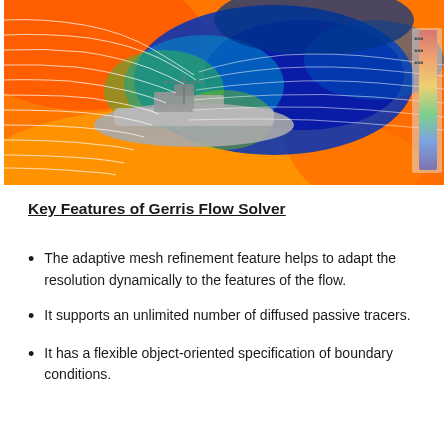[Figure (other): CFD simulation visualization showing airflow around a vehicle (possibly a race car or boat hull) rendered with a rainbow color map (orange to red = high pressure/velocity, blue = low). Streamlines are visible flowing around the 3D model against an orange-red background. A partial color legend is visible at the right edge.]
Key Features of Gerris Flow Solver
The adaptive mesh refinement feature helps to adapt the resolution dynamically to the features of the flow.
It supports an unlimited number of diffused passive tracers.
It has a flexible object-oriented specification of boundary conditions.